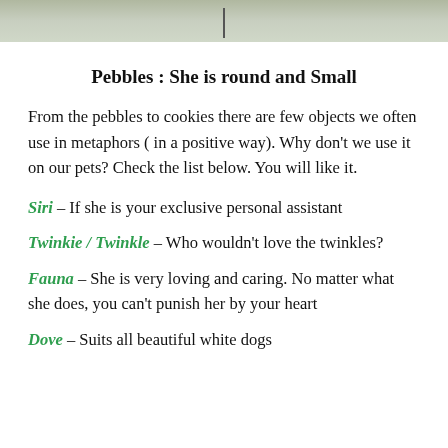[Figure (photo): Top strip of a photo showing an outdoor scene, partially visible at the top of the page]
Pebbles : She is round and Small
From the pebbles to cookies there are few objects we often use in metaphors ( in a positive way). Why don’t we use it on our pets? Check the list below. You will like it.
Siri – If she is your exclusive personal assistant
Twinkie / Twinkle – Who wouldn’t love the twinkles?
Fauna – She is very loving and caring. No matter what she does, you can’t punish her by your heart
Dove – Suits all beautiful white dogs